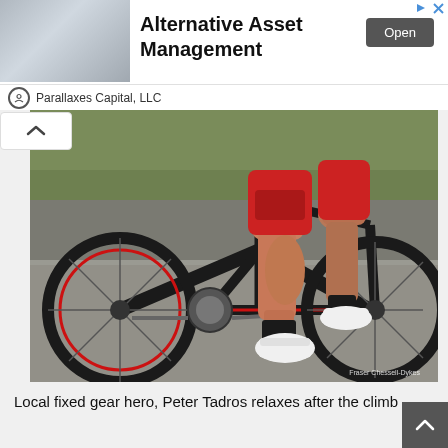[Figure (other): Advertisement banner for Parallaxes Capital, LLC - Alternative Asset Management with an Open button, showing a thumbnail of hands on laptop/documents]
[Figure (photo): Close-up photo of a cyclist's legs and a black road bicycle with red accents on a gravel road. The cyclist is wearing red cycling shorts and white cycling shoes with black socks. Photo credit: Fraser Chessell-Dykes]
Local fixed gear hero, Peter Tadros relaxes after the climb